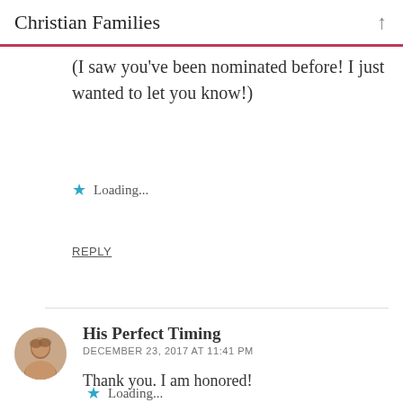Christian Families
(I saw you've been nominated before! I just wanted to let you know!)
★ Loading...
REPLY
His Perfect Timing
DECEMBER 23, 2017 AT 11:41 PM
Thank you. I am honored!
★ Loading...